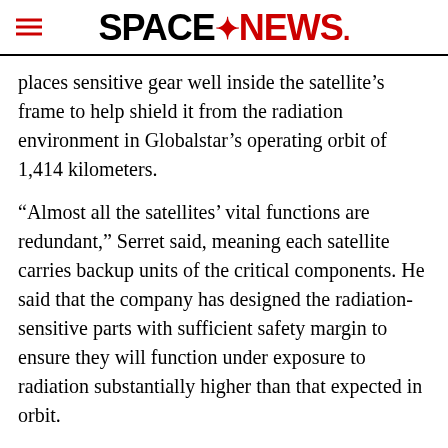SPACENEWS
places sensitive gear well inside the satellite’s frame to help shield it from the radiation environment in Globalstar’s operating orbit of 1,414 kilometers.
“Almost all the satellites’ vital functions are redundant,” Serret said, meaning each satellite carries backup units of the critical components. He said that the company has designed the radiation-sensitive parts with sufficient safety margin to ensure they will function under exposure to radiation substantially higher than that expected in orbit.
These and other improvements have doubled the contracted service life of the second-generation satellites to 15 years compared with 7.5 years for the first generation. The improvements also developed